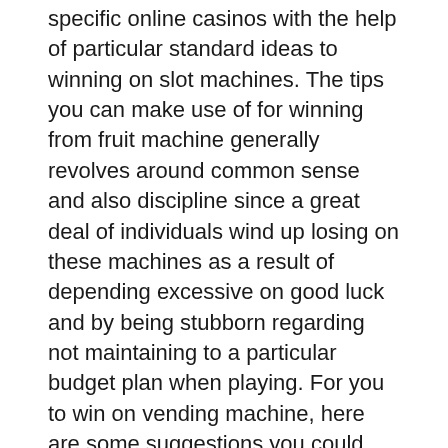specific online casinos with the help of particular standard ideas to winning on slot machines. The tips you can make use of for winning from fruit machine generally revolves around common sense and also discipline since a great deal of individuals wind up losing on these machines as a result of depending excessive on good luck and by being stubborn regarding not maintaining to a particular budget plan when playing. For you to win on vending machine, here are some suggestions you could find beneficial:
Constantly set what is called your bankroll. This is the quantity of money that you permit you on your own to utilize on one certain device. If the cash that you designate for such a maker goes out, you should locate one more device to attempt as well as win from as well as established another bankroll for that next equipment. You wouldn't intend to establish your whole spending plan on just one device and later regret